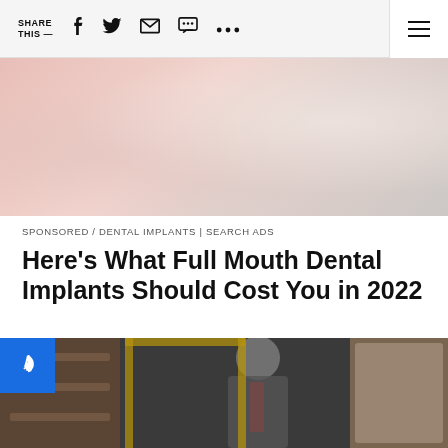SHARE THIS —
[Figure (photo): Blurred dental/medical office background with pink/peach tones]
SPONSORED / DENTAL IMPLANTS | SEARCH ADS
Here's What Full Mouth Dental Implants Should Cost You in 2022
[Figure (photo): Black and white photo of a person in a suit, blurred, with NBC peacock logo overlay in blue square at top left]